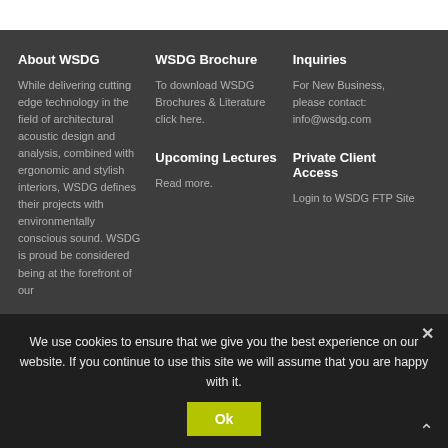About WSDG
While delivering cutting edge technology in the field of architectural acoustic design and analysis, combined with ergonomic and stylish interiors, WSDG defines their projects with environmentally conscious sound. WSDG is proud be considered being at the forefront of our
WSDG Brochure
To download WSDG Brochures & Literature click here.
Upcoming Lectures
Read more.
Inquiries
For New Business, please contact: info@wsdg.com
Private Client Access
Login to WSDG FTP Site
We use cookies to ensure that we give you the best experience on our website. If you continue to use this site we will assume that you are happy with it.
Ok